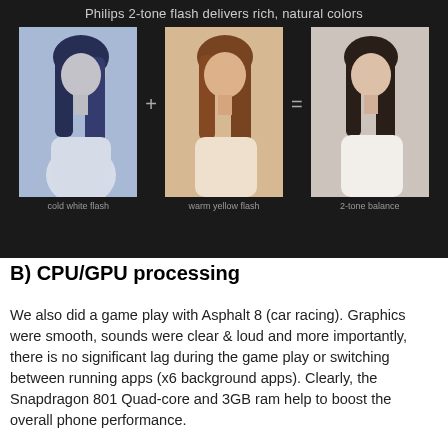[Figure (photo): Dark background image showing three side-by-side photos of a woman with the caption 'Philips 2-tone flash delivers rich, natural colors'. The three photos are labeled: cold white flash (bluish tint), warm yellow flash (warm/orange tint), and 2-tone balance (natural colors). Operators '+' and '=' appear between the photos.]
B) CPU/GPU processing
We also did a game play with Asphalt 8 (car racing). Graphics were smooth, sounds were clear & loud and more importantly, there is no significant lag during the game play or switching between running apps (x6 background apps). Clearly, the Snapdragon 801 Quad-core and 3GB ram help to boost the overall phone performance.